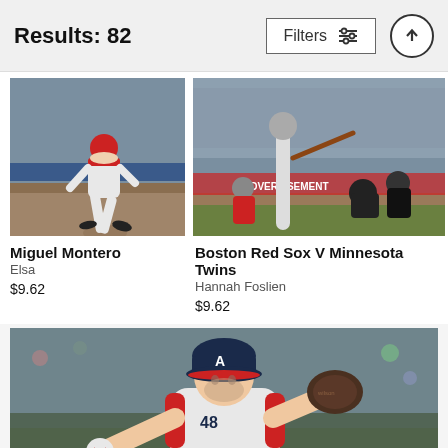Results: 82
Filters
[Figure (photo): Baseball player Miguel Montero running on field in white uniform]
Miguel Montero
Elsa
$9.62
[Figure (photo): Baseball game action shot: Boston Red Sox V Minnesota Twins, batter swinging, catcher, umpire, crowd in background]
Boston Red Sox V Minnesota Twins
Hannah Foslien
$9.62
[Figure (photo): Atlanta Braves pitcher in navy cap with 'A' logo, winding up to throw ball, wearing white uniform, glove visible]